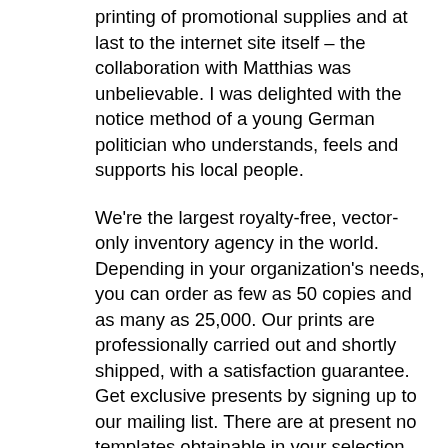printing of promotional supplies and at last to the internet site itself – the collaboration with Matthias was unbelievable. I was delighted with the notice method of a young German politician who understands, feels and supports his local people.
We're the largest royalty-free, vector-only inventory agency in the world. Depending in your organization's needs, you can order as few as 50 copies and as many as 25,000. Our prints are professionally carried out and shortly shipped, with a satisfaction guarantee. Get exclusive presents by signing up to our mailing list. There are at present no templates obtainable in your selection, sorry.
This is a free letterhead template you ought to use to design an attractive layout in your model. It comes in vector EPS format with a totally customizable design. You can use them to add branding to PDF paperwork, create simple invoices, cover letters, and much more. Whether you write letters by hand, print them out, or ship them digitally, customized letterheads let you...